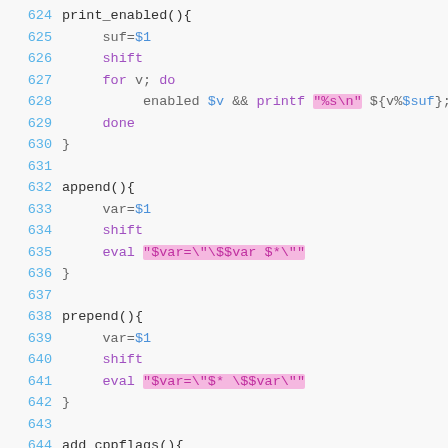Source code listing lines 624-648 showing shell script functions: print_enabled, append, prepend, add_cppflags, add_cflags